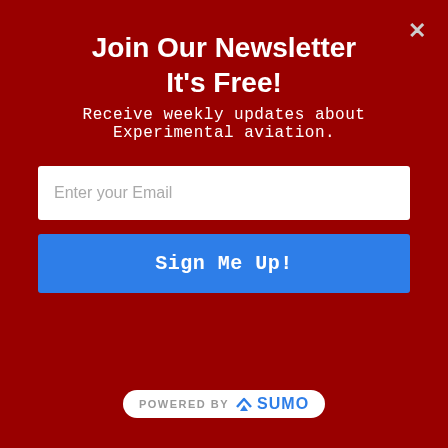Join Our Newsletter
It's Free!
Receive weekly updates about Experimental aviation.
Enter your Email
Sign Me Up!
| Gross: | 550 lb. |
| Useful load: | 272 lb. |
| No. of seats: | 1 |
| Kit cost: | $8,000 |
The UltraCub from Belite also made its first public appearance at AirVenture. The idea was to celebrate the 75th anniversary of Piper by creating this ultralight look-alike. This design differs from the